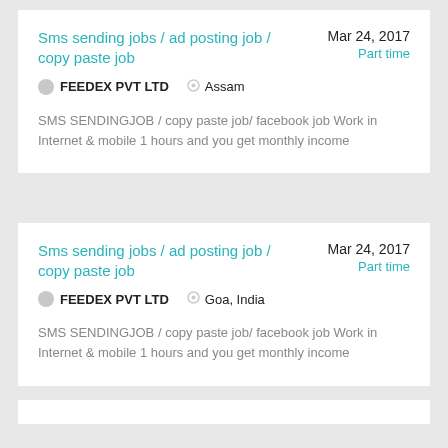Sms sending jobs / ad posting job / copy paste job
Mar 24, 2017
Part time
FEEDEX PVT LTD
Assam
SMS SENDINGJOB / copy paste job/ facebook job Work in Internet & mobile 1 hours and you get monthly income
Sms sending jobs / ad posting job / copy paste job
Mar 24, 2017
Part time
FEEDEX PVT LTD
Goa, India
SMS SENDINGJOB / copy paste job/ facebook job Work in Internet & mobile 1 hours and you get monthly income